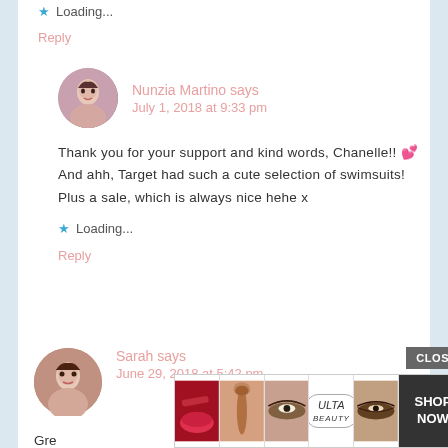Loading...
Reply
Nunzia Martino says
July 1, 2018 at 9:33 pm
Thank you for your support and kind words, Chanelle!! 💕 And ahh, Target had such a cute selection of swimsuits! Plus a sale, which is always nice hehe x
Loading...
Reply
Sarah says
June 29, 2018 at 5:42 pm
Gre
[Figure (screenshot): Advertisement banner for ULTA beauty with images of lips, makeup brush, eye, ULTA logo, smoky eye, and SHOP NOW button with a CLOSE button above]